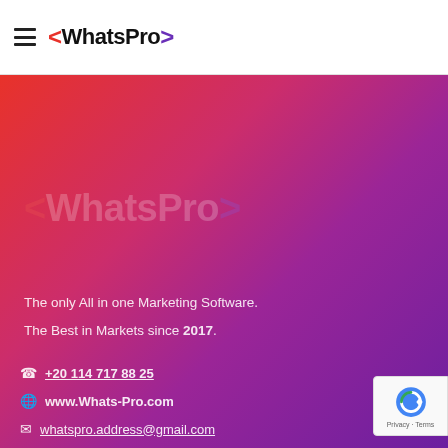WhatsPro
[Figure (logo): WhatsPro logo with red left angle bracket, black WhatsPro text, and purple right angle bracket]
The only All in one Marketing Software.
The Best in Markets since 2017.
+20 114 717 88 25
www.Whats-Pro.com
whatspro.address@gmail.com